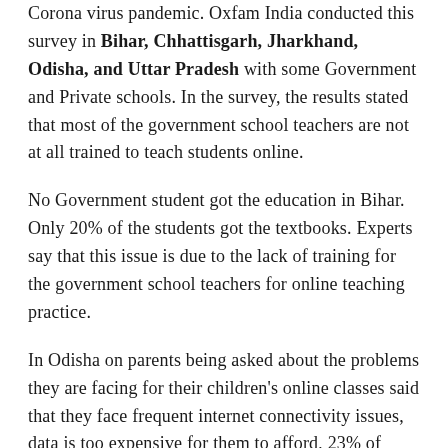Corona virus pandemic. Oxfam India conducted this survey in Bihar, Chhattisgarh, Jharkhand, Odisha, and Uttar Pradesh with some Government and Private schools. In the survey, the results stated that most of the government school teachers are not at all trained to teach students online.
No Government student got the education in Bihar. Only 20% of the students got the textbooks. Experts say that this issue is due to the lack of training for the government school teachers for online teaching practice.
In Odisha on parents being asked about the problems they are facing for their children's online classes said that they face frequent internet connectivity issues, data is too expensive for them to afford, 23% of them don't have the smart devices, 19% of them are not able to deal with the software, and 18% of them do not have the internet access at all.